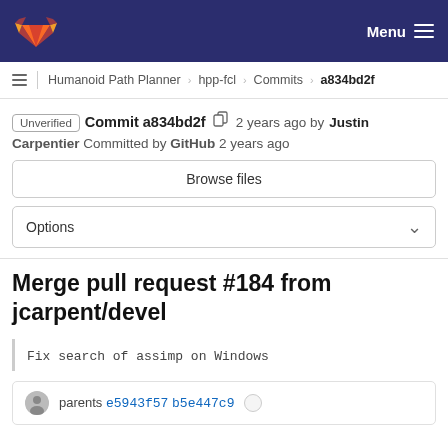GitLab navigation bar with Menu
Humanoid Path Planner › hpp-fcl › Commits › a834bd2f
Unverified  Commit a834bd2f  2 years ago by Justin Carpentier  Committed by GitHub 2 years ago
Browse files
Options
Merge pull request #184 from jcarpent/devel
Fix search of assimp on Windows
parents e5943f57 b5e447c9